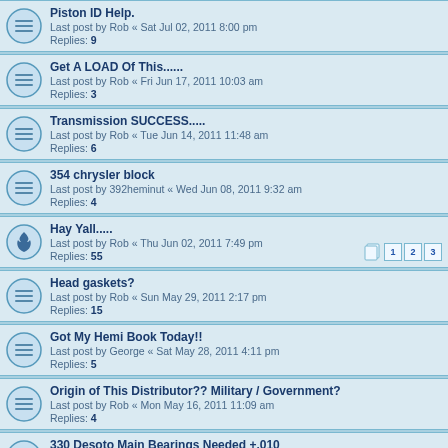Piston ID Help.
Last post by Rob « Sat Jul 02, 2011 8:00 pm
Replies: 9
Get A LOAD Of This......
Last post by Rob « Fri Jun 17, 2011 10:03 am
Replies: 3
Transmission SUCCESS.....
Last post by Rob « Tue Jun 14, 2011 11:48 am
Replies: 6
354 chrysler block
Last post by 392heminut « Wed Jun 08, 2011 9:32 am
Replies: 4
Hay Yall.....
Last post by Rob « Thu Jun 02, 2011 7:49 pm
Replies: 55
Head gaskets?
Last post by Rob « Sun May 29, 2011 2:17 pm
Replies: 15
Got My Hemi Book Today!!
Last post by George « Sat May 28, 2011 4:11 pm
Replies: 5
Origin of This Distributor?? Military / Government?
Last post by Rob « Mon May 16, 2011 11:09 am
Replies: 4
330 Desoto Main Bearings Needed +.010
Last post by Rob « Wed May 11, 2011 10:56 am
Replies: 1